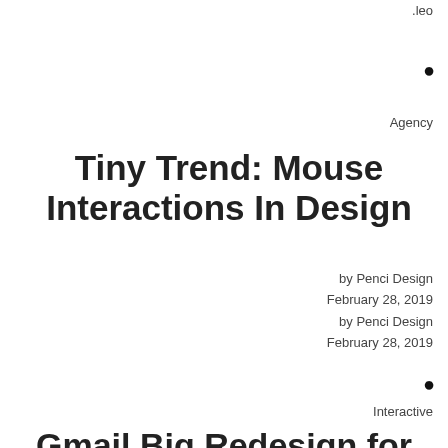.leo
•
Agency
Tiny Trend: Mouse Interactions In Design
by Penci Design
February 28, 2019
by Penci Design
February 28, 2019
•
Interactive
Gmail Big Redesign for Android and iOS